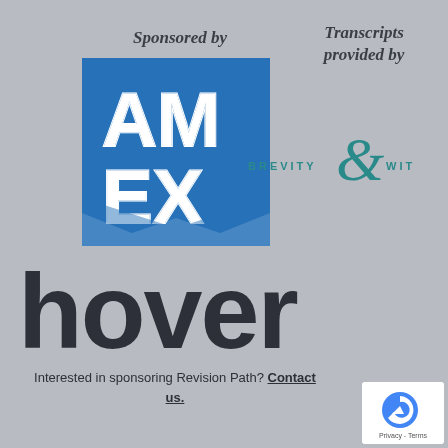Sponsored by
[Figure (logo): American Express logo - blue square with AM EX text in white]
Transcripts provided by
[Figure (logo): Brevity & Wit logo - teal ampersand with text BREVITY and WIT]
[Figure (logo): hover logo in dark gray lowercase letters]
Interested in sponsoring Revision Path? Contact us.
[Figure (other): reCAPTCHA badge with Privacy and Terms links]